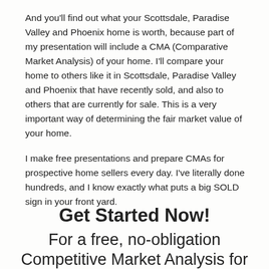And you'll find out what your Scottsdale, Paradise Valley and Phoenix home is worth, because part of my presentation will include a CMA (Comparative Market Analysis) of your home. I'll compare your home to others like it in Scottsdale, Paradise Valley and Phoenix that have recently sold, and also to others that are currently for sale. This is a very important way of determining the fair market value of your home.
I make free presentations and prepare CMAs for prospective home sellers every day. I've literally done hundreds, and I know exactly what puts a big SOLD sign in your front yard.
Get Started Now!
For a free, no-obligation Competitive Market Analysis for